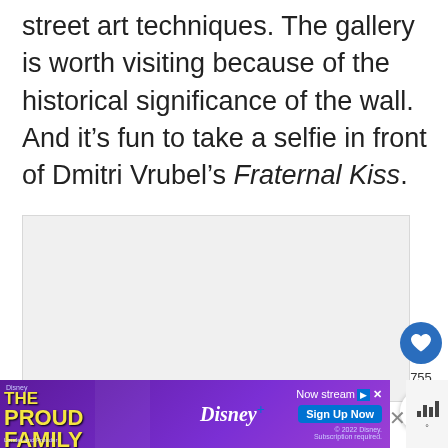street art techniques. The gallery is worth visiting because of the historical significance of the wall. And it's fun to take a selfie in front of Dmitri Vrubel's Fraternal Kiss.
[Figure (photo): A large light gray image placeholder rectangle, likely showing a photo of street art or the Berlin Wall gallery.]
[Figure (screenshot): Disney+ advertisement banner showing The Proud Family: Louder and Prouder with text 'Now streaming', 'Sign Up Now' button, and Disney+ logo on purple background.]